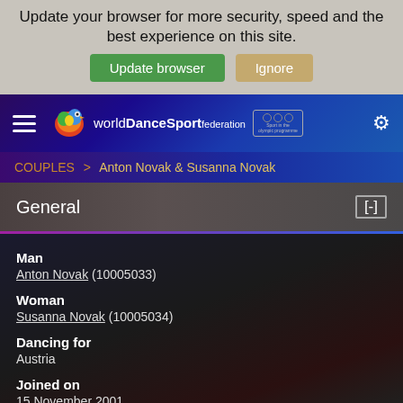Your web browser (iOS 11) is out of date. Update your browser for more security, speed and the best experience on this site.
[Figure (screenshot): World DanceSport Federation navigation bar with hamburger menu, logo, Olympic badge, and gear icon]
COUPLES > Anton Novak & Susanna Novak
General [-]
Man
Anton Novak (10005033)

Woman
Susanna Novak (10005034)

Dancing for
Austria

Joined on
15 November 2001

Current age group